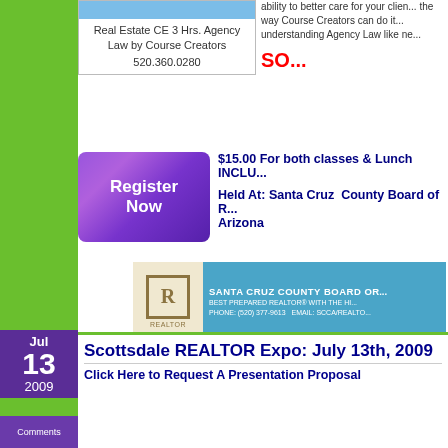[Figure (screenshot): Real Estate CE Agency Law course box with blue bar and phone number]
ability to better care for your clien... the way Course Creators can do it... understanding Agency Law like ne...
SO...
$15.00 For both classes & Lunch INCLU...
Held At: Santa Cruz County Board of R... Arizona
[Figure (logo): Register Now button - purple gradient]
[Figure (logo): Santa Cruz County Board of Realtors banner with logo]
0 comments | Written by Kris Inman in: Uncategorized | Tags: ADRE, Arizona, Arizon... Arizona Real Estate Contract, az, CE Courses, Continuing Education, Course Creat... Estate Classes, Real Estate Continuing Education, Real Estate Contract Writing, Re... Barnabei, Tucson Association of Realtors, tucson az
Scottsdale REALTOR Expo: July 13th, 2009
Click Here to Request A Presentation Proposal